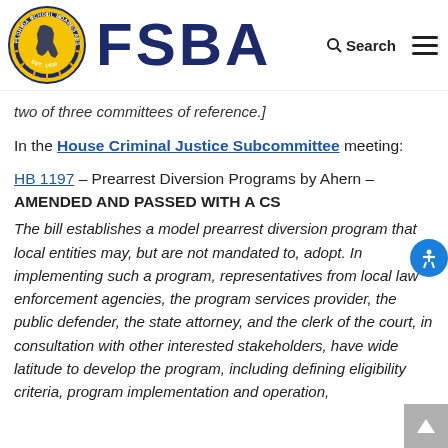[Figure (logo): Florida School Boards Association (FSBA) logo with circular seal and FSBA text]
two of three committees of reference.]
In the House Criminal Justice Subcommittee meeting:
HB 1197 – Prearrest Diversion Programs by Ahern – AMENDED AND PASSED WITH A CS
The bill establishes a model prearrest diversion program that local entities may, but are not mandated to, adopt. In implementing such a program, representatives from local law enforcement agencies, the program services provider, the public defender, the state attorney, and the clerk of the court, in consultation with other interested stakeholders, have wide latitude to develop the program, including defining eligibility criteria, program implementation and operation,